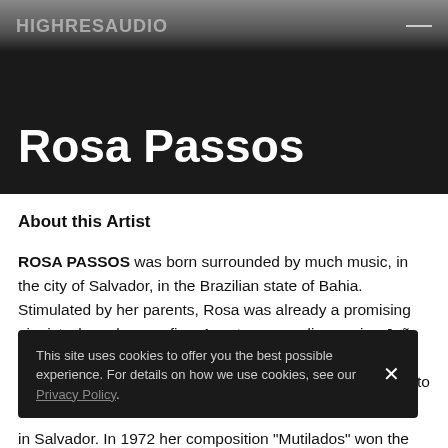Rosa Passos
Rosa Passos
About this Artist
ROSA PASSOS was born surrounded by much music, in the city of Salvador, in the Brazilian state of Bahia. Stimulated by her parents, Rosa was already a promising pianist when she was five. As a teenager discovering João Gilberto and Tom Jobim, she replaced the piano with the guitar, and since then she has been completely dedicated to her art
This site uses cookies to offer you the best possible experience. For details on how we use cookies, see our Privacy Policy.
in Salvador. In 1972 her composition "Mutilados" won the